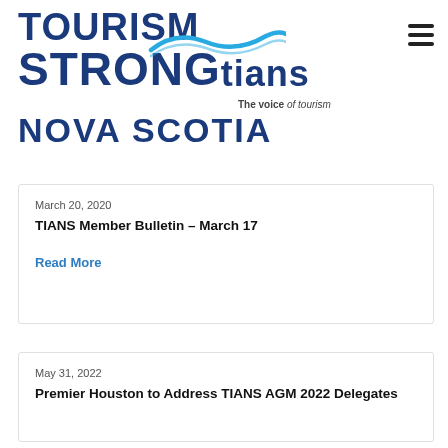[Figure (logo): Tourism Industry Association of Nova Scotia (TIANS) logo with text TOURISM STRONGtians, wave graphic, tagline 'The voice of tourism', and NOVA SCOTIA text below]
March 20, 2020
TIANS Member Bulletin – March 17
Read More
May 31, 2022
Premier Houston to Address TIANS AGM 2022 Delegates